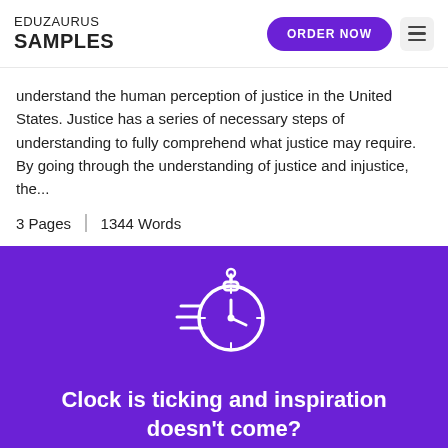EDUZAURUS SAMPLES
understand the human perception of justice in the United States. Justice has a series of necessary steps of understanding to fully comprehend what justice may require. By going through the understanding of justice and injustice, the...
3 Pages | 1344 Words
[Figure (illustration): White stopwatch/clock icon with speed lines on purple background, representing fast deadline service]
Clock is ticking and inspiration doesn't come?
We`ll do boring work for you. No plagiarism guarantee. Deadline from 3 hours.